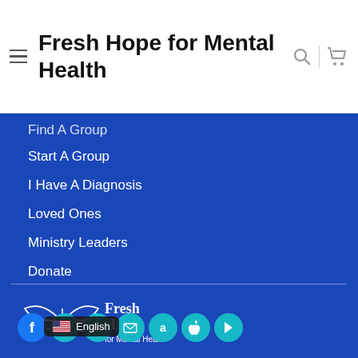Fresh Hope for Mental Health
Find A Group
Start A Group
I Have A Diagnosis
Loved Ones
Ministry Leaders
Donate
[Figure (logo): Fresh Hope for Mental Health logo — white butterfly/leaf graphic with text 'Fresh Hope for Mental Health']
Social media icons: Facebook, YouTube, LinkedIn, Email, Amazon, Apple, Google Play. Language selector: English